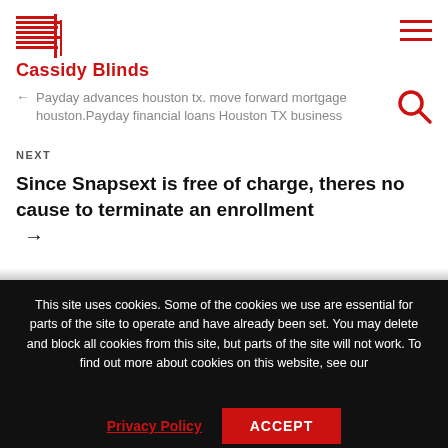Cassidy Blinds
← Payday advances houston tx. move forward mortgage houston.Payday financial loans Houston TX business
NEXT
Since Snapsext is free of charge, theres no cause to terminate an enrollment →
This site uses cookies. Some of the cookies we use are essential for parts of the site to operate and have already been set. You may delete and block all cookies from this site, but parts of the site will not work. To find out more about cookies on this website, see our
Privacy Policy
ACCEPT